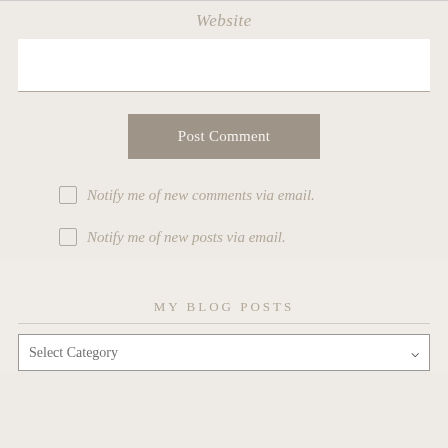Website
Post Comment
Notify me of new comments via email.
Notify me of new posts via email.
MY BLOG POSTS
Select Category